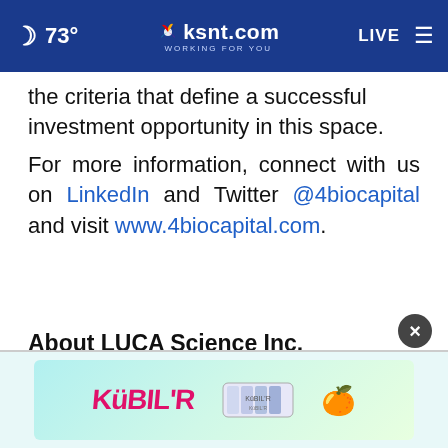73° ksnt.com WORKING FOR YOU LIVE
the criteria that define a successful investment opportunity in this space.
For more information, connect with us on LinkedIn and Twitter @4biocapital and visit www.4biocapital.com.
About LUCA Science Inc.
LUCA Science is a preclinical stage bioph[armaceutical company pioneering a new class of mitochondrial therapy to restore
[Figure (screenshot): Advertisement overlay with KUBILR logo and product image, with a close (X) button]